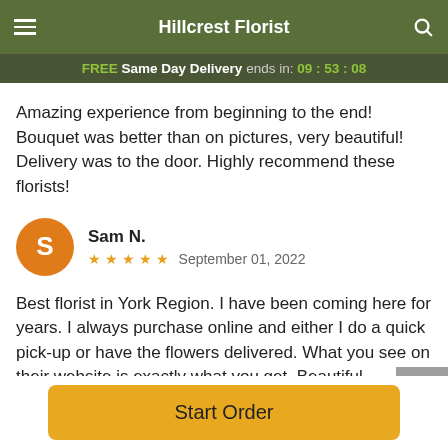Hillcrest Florist
FREE Same Day Delivery ends in: 09:53:08
Amazing experience from beginning to the end! Bouquet was better than on pictures, very beautiful! Delivery was to the door. Highly recommend these florists!
Sam N.
★★★★★  September 01, 2022
Best florist in York Region. I have been coming here for years. I always purchase online and either I do a quick pick-up or have the flowers delivered. What you see on their website is exactly what you get. Beautiful arrangements